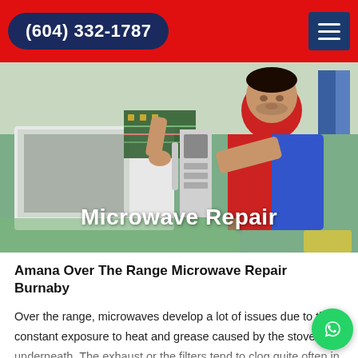(604) 332-1787
[Figure (photo): A technician in a red and blue uniform repairing a white microwave oven with the interior exposed on a green table. Text overlay reads 'Microwave Repair'.]
Amana Over The Range Microwave Repair Burnaby
Over the range, microwaves develop a lot of issues due to the constant exposure to heat and grease caused by the stove underneath. The exhaust or the filters tend to clog quite often in Amana over the range microwaves and are extremely important to fix as soon as possible. These issues can further make your entire microwave stop working. Burnaby